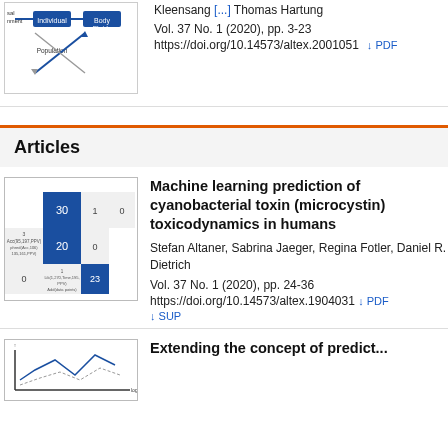Kleensang [...] Thomas Hartung
Vol. 37 No. 1 (2020), pp. 3-23
https://doi.org/10.14573/altex.2001051
Articles
[Figure (other): Thumbnail image of a confusion matrix with blue and white cells showing classification results]
Machine learning prediction of cyanobacterial toxin (microcystin) toxicodynamics in humans
Stefan Altaner, Sabrina Jaeger, Regina Fotler, Daniel R. Dietrich
Vol. 37 No. 1 (2020), pp. 24-36
https://doi.org/10.14573/altex.1904031
[Figure (other): Thumbnail image of a scientific plot/diagram for the next article]
Extending the concept of predict...